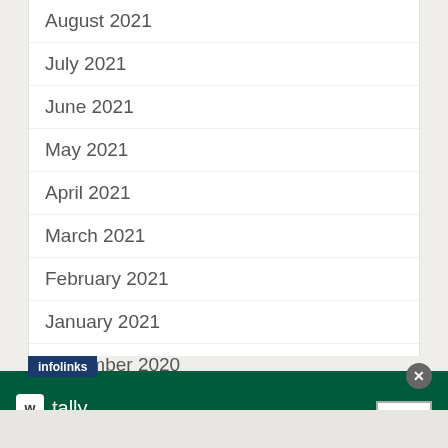August 2021
July 2021
June 2021
May 2021
April 2021
March 2021
February 2021
January 2021
December 2020
[Figure (screenshot): Infolinks advertisement banner for Tally app: 'Fast credit card payoff' with a Download Now button on a dark green background]